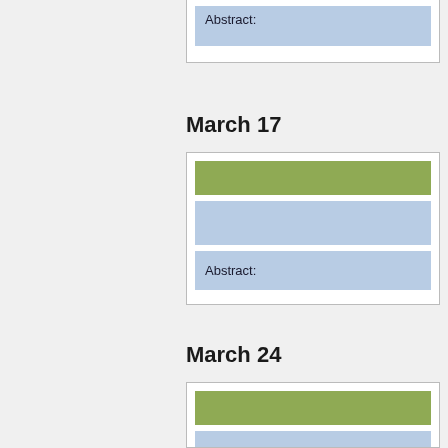Abstract:
March 17
Abstract:
March 24